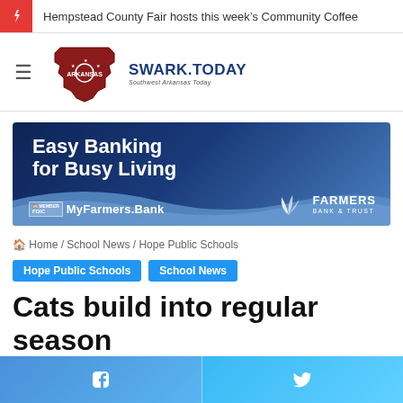Hempstead County Fair hosts this week's Community Coffee
[Figure (logo): SWARK.TODAY Southwest Arkansas Today logo with Arkansas state outline in red]
[Figure (infographic): Farmers Bank & Trust advertisement banner: Easy Banking for Busy Living, MyFarmers.Bank]
Home / School News / Hope Public Schools
Hope Public Schools  School News
Cats build into regular season